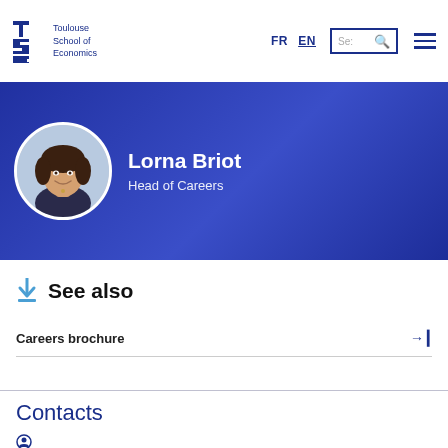Toulouse School of Economics | FR | EN | Search
[Figure (photo): Circular profile photo of Lorna Briot, Head of Careers at Toulouse School of Economics, smiling woman with dark hair]
Lorna Briot
Head of Careers
See also
Careers brochure →
Contacts